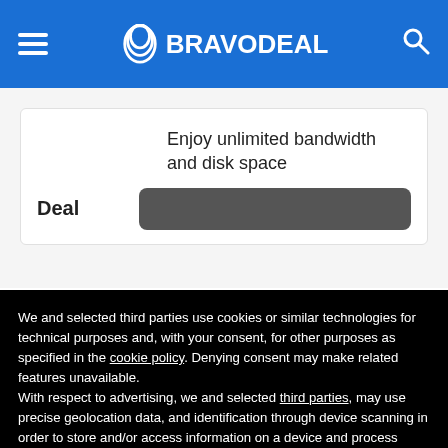BRAVODEAL
Enjoy unlimited bandwidth and disk space
Deal
We and selected third parties use cookies or similar technologies for technical purposes and, with your consent, for other purposes as specified in the cookie policy. Denying consent may make related features unavailable.
With respect to advertising, we and selected third parties, may use precise geolocation data, and identification through device scanning in order to store and/or access information on a device and process personal data like your usage data for the following advertising purposes: personalized ads and content, ad and content measurement, audience insights and product development.
You can freely give, deny, or withdraw your consent at any time by accessing the preferences panel.
You can consent to the use of such technologies by using the “OK” button or by continuing to browse otherwise.